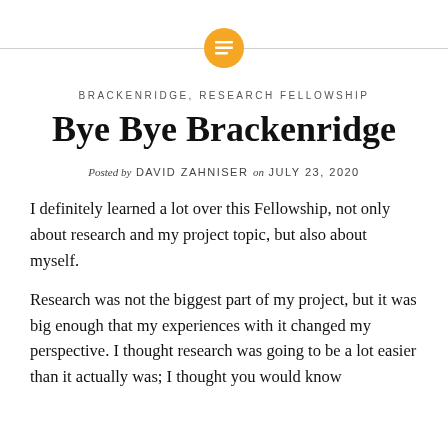BRACKENRIDGE, RESEARCH FELLOWSHIP
Bye Bye Brackenridge
Posted by DAVID ZAHNISER on JULY 23, 2020
I definitely learned a lot over this Fellowship, not only about research and my project topic, but also about myself.
Research was not the biggest part of my project, but it was big enough that my experiences with it changed my perspective. I thought research was going to be a lot easier than it actually was; I thought you would know